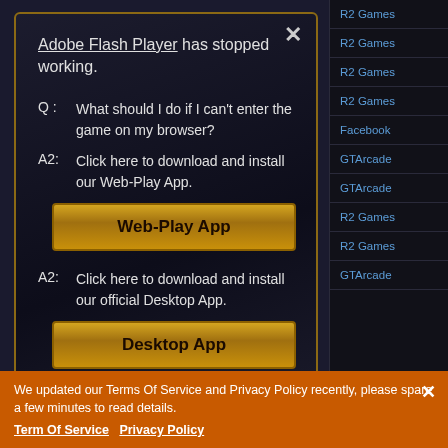Adobe Flash Player has stopped working.
Q : What should I do if I can't enter the game on my browser?
A2: Click here to download and install our Web-Play App.
Web-Play App
A2: Click here to download and install our official Desktop App.
Desktop App
R2 Games
R2 Games
R2 Games
R2 Games
Facebook
GTArcade
GTArcade
R2 Games
R2 Games
GTArcade
We updated our Terms Of Service and Privacy Policy recently, please spare a few minutes to read details. Term Of Service Privacy Policy